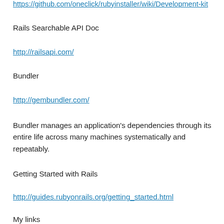https://github.com/oneclick/rubyinstaller/wiki/Development-kit
Rails Searchable API Doc
http://railsapi.com/
Bundler
http://gembundler.com/
Bundler manages an application's dependencies through its entire life across many machines systematically and repeatably.
Getting Started with Rails
http://guides.rubyonrails.org/getting_started.html
My links